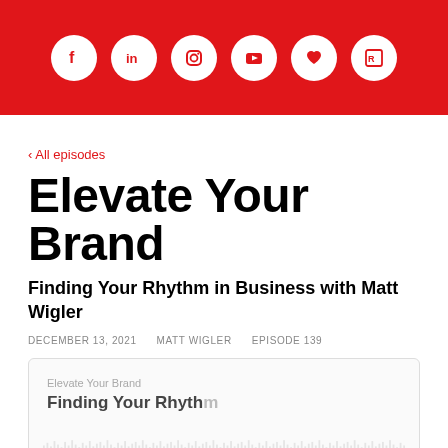Social media icons: Facebook, LinkedIn, Instagram, YouTube, Heart, Rss/Blog
‹ All episodes
Elevate Your Brand
Finding Your Rhythm in Business with Matt Wigler
DECEMBER 13, 2021    MATT WIGLER    EPISODE 139
[Figure (screenshot): Podcast player card showing 'Elevate Your Brand' label and 'Finding Your Rhyth...' episode title with audio waveform at bottom]